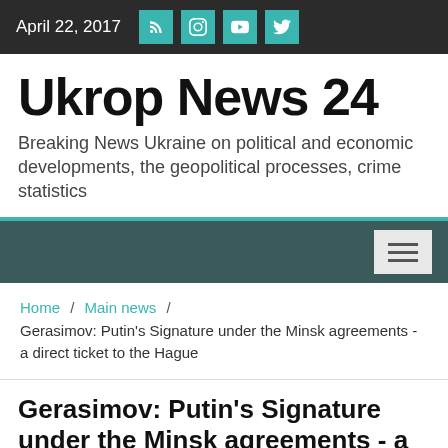April 22, 2017
Ukrop News 24
Breaking News Ukraine on political and economic developments, the geopolitical processes, crime statistics
Home / Main news / Gerasimov: Putin's Signature under the Minsk agreements - a direct ticket to the Hague
Gerasimov: Putin's Signature under the Minsk agreements - a direct ticket to the Hague